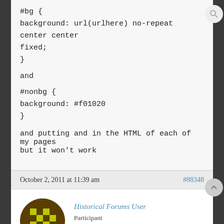#bg {
background: url(urlhere) no-repeat center center fixed;
}

and

#nonbg {
background: #f01020
}

and putting and in the HTML of each of my pages but it won't work
October 2, 2011 at 11:39 am
#88348
Historical Forums User
Participant